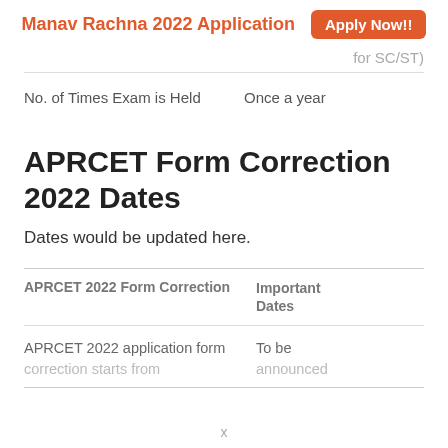Manav Rachna 2022 Application   Apply Now!!
for SC/ST)
| No. of Times Exam is Held | Once a year |
| --- | --- |
APRCET Form Correction 2022 Dates
Dates would be updated here.
| APRCET 2022 Form Correction | Important Dates |
| --- | --- |
| APRCET 2022 application form correction starts from | To be announced |